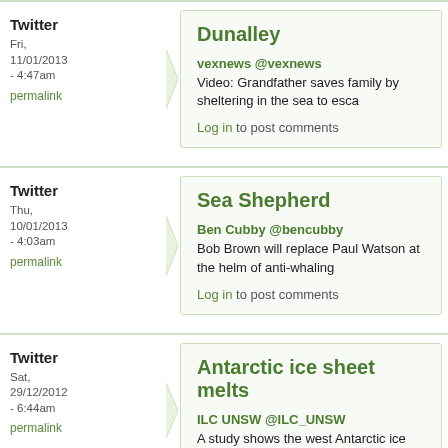Twitter
Fri, 11/01/2013 - 4:47am
permalink
Dunalley
vexnews @vexnews
Video: Grandfather saves family by sheltering in the sea to esca
Log in to post comments
Twitter
Thu, 10/01/2013 - 4:03am
permalink
Sea Shepherd
Ben Cubby @bencubby
Bob Brown will replace Paul Watson at the helm of anti-whaling
Log in to post comments
Twitter
Sat, 29/12/2012 - 6:44am
permalink
Antarctic ice sheet melts
ILC UNSW @ILC_UNSW
A study shows the west Antarctic ice sheet is warming nearly tw